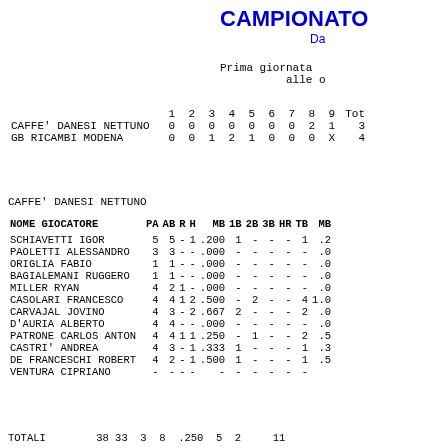CAMPIONATO
Da
Prima giornata
alle o
|  | 1 | 2 | 3 | 4 | 5 | 6 | 7 | 8 | 9 | Tot |
| --- | --- | --- | --- | --- | --- | --- | --- | --- | --- | --- |
| CAFFE' DANESI NETTUNO | 0 | 0 | 0 | 0 | 0 | 0 | 0 | 2 | 1 | 3 |
| GB RICAMBI MODENA | 0 | 0 | 1 | 2 | 1 | 0 | 0 | 0 | X | 4 |
CAFFE' DANESI NETTUNO
| NOME GIOCATORE | PA | AB | R | H | MB | 1B | 2B | 3B | HR | TB | MB |
| --- | --- | --- | --- | --- | --- | --- | --- | --- | --- | --- | --- |
| SCHIAVETTI IGOR | 5 | 5 | - | 1 | .200 | 1 | - | - | - | 1 | .2 |
| PAOLETTI ALESSANDRO | 3 | 3 | - | - | .000 | - | - | - | - | - | .0 |
| ORIGLIA FABIO | 1 | 1 | - | - | .000 | - | - | - | - | - | .0 |
| BAGIALEMANI RUGGERO | 1 | 1 | - | - | .000 | - | - | - | - | - | .0 |
| MILLER RYAN | 4 | 2 | 1 | - | .000 | - | - | - | - | - | .0 |
| CASOLARI FRANCESCO | 4 | 4 | 1 | 2 | .500 | - | 2 | - | - | 4 | 1.0 |
| CARVAJAL JOVINO | 4 | 3 | - | 2 | .667 | 2 | - | - | - | 2 | .0 |
| D'AURIA ALBERTO | 4 | 4 | - | - | .000 | - | - | - | - | - | .0 |
| PATRONE CARLOS ANTON | 4 | 4 | 1 | 1 | .250 | - | 1 | - | - | 2 | .5 |
| CASTRI' ANDREA | 4 | 3 | - | 1 | .333 | 1 | - | - | - | 1 | .3 |
| DE FRANCESCHI ROBERT | 4 | 2 | - | 1 | .500 | 1 | - | - | - | 1 | .5 |
| VENTURA CIPRIANO | - | - | - | - | - | - | - | - | - | - |  |
TOTALI    38 33  3  8  .250  5  2     11